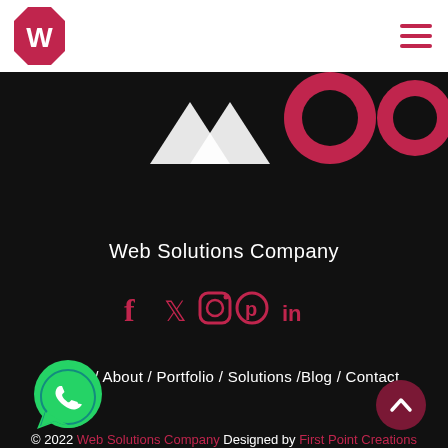[Figure (logo): Pink octagonal logo with white W letter inside]
[Figure (other): Hamburger menu icon with three pink horizontal lines]
[Figure (other): Partial dark background brand graphic showing stylized 'woo' letters in pink on black]
Web Solutions Company
[Figure (infographic): Social media icons row: Facebook, Twitter, Instagram, Pinterest, LinkedIn — all in pink/red color on dark background]
Home / About / Portfolio / Solutions /Blog / Contact
© 2022 Web Solutions Company Designed by First Point Creations
[Figure (other): Green WhatsApp logo bubble in bottom left]
[Figure (other): Dark pink/maroon back-to-top button with upward chevron in bottom right]